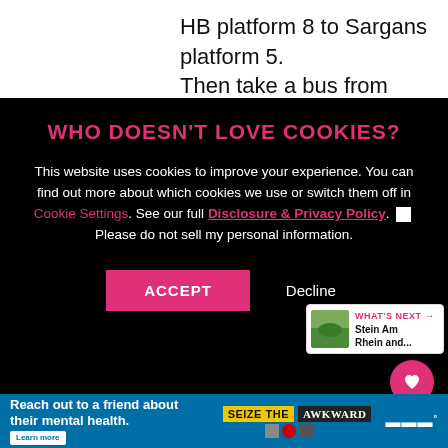HB platform 8 to Sargans platform 5.
Then take a bus from Sargans Ba...platform B to Ba...
[Figure (screenshot): Cookie consent overlay on dark background with title 'WHO DOESN'T LOVE COOKIES?', body text about cookie usage, links to Cookie Settings and Disclosure & Privacy Policy, a checkbox for 'Please do not sell my personal information', and ACCEPT/Decline buttons.]
Vaduz covered in the Swiss travel pass.
[Figure (infographic): Ad banner: 'Reach out to a friend about their mental health. Learn more' with 'SEIZE THE AWKWARD' branding and logos.]